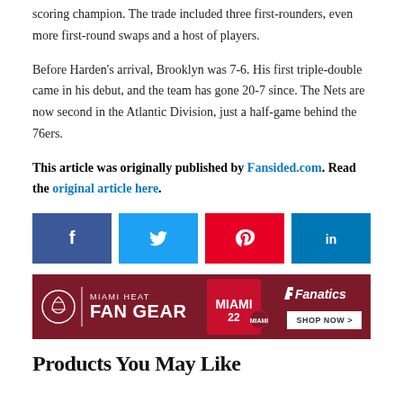scoring champion. The trade included three first-rounders, even more first-round swaps and a host of players.
Before Harden’s arrival, Brooklyn was 7-6. His first triple-double came in his debut, and the team has gone 20-7 since. The Nets are now second in the Atlantic Division, just a half-game behind the 76ers.
This article was originally published by Fansided.com. Read the original article here.
[Figure (infographic): Social sharing buttons: Facebook (blue), Twitter (cyan), Pinterest (red), LinkedIn (blue)]
[Figure (advertisement): Miami Heat Fan Gear ad banner with Fanatics branding and Shop Now button]
Products You May Like